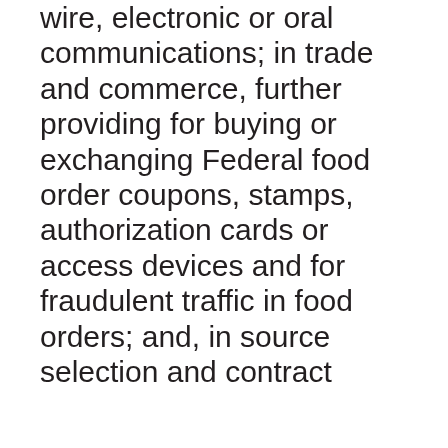wire, electronic or oral communications; in trade and commerce, further providing for buying or exchanging Federal food order coupons, stamps, authorization cards or access devices and for fraudulent traffic in food orders; and, in source selection and contract